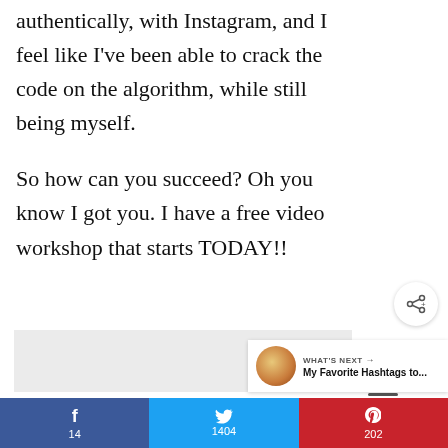authentically, with Instagram, and I feel like I've been able to crack the code on the algorithm, while still being myself.
So how can you succeed? Oh you know I got you. I have a free video workshop that starts TODAY!!
[Figure (screenshot): Gray placeholder box for embedded content]
[Figure (infographic): What's Next panel with thumbnail image showing 'My Favorite Hashtags to...']
[Figure (infographic): Social sharing bar with Facebook (14), Twitter (1404), Pinterest (202) share counts; and like (1.6K) and share buttons on the right]